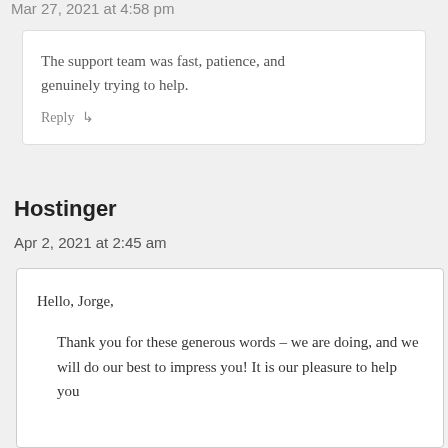Mar 27, 2021 at 4:58 pm
The support team was fast, patience, and genuinely trying to help.
Reply ↳
Hostinger
Apr 2, 2021 at 2:45 am
Hello, Jorge,
Thank you for these generous words – we are doing, and we will do our best to impress you! It is our pleasure to help you